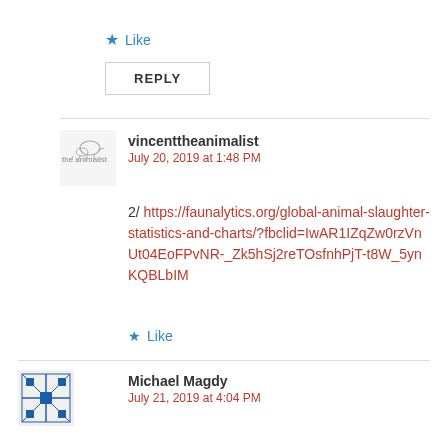★ Like
REPLY
vincenttheanimalist
July 20, 2019 at 1:48 PM
2/ https://faunalytics.org/global-animal-slaughter-statistics-and-charts/?fbclid=IwAR1IZqZw0rzVnUt04EoFPvNR-_Zk5hSj2reTOsfnhPjT-t8W_5ynKQBLbIM
★ Like
Michael Magdy
July 21, 2019 at 4:04 PM